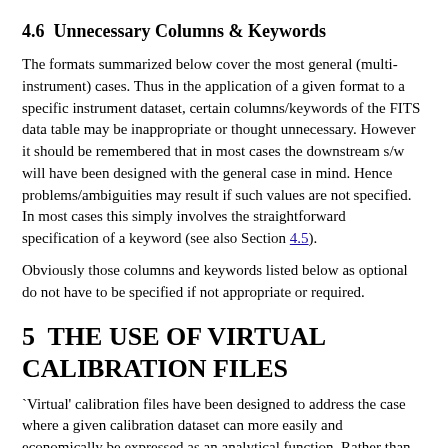4.6  Unnecessary Columns & Keywords
The formats summarized below cover the most general (multi-instrument) cases. Thus in the application of a given format to a specific instrument dataset, certain columns/keywords of the FITS data table may be inappropriate or thought unnecessary. However it should be remembered that in most cases the downstream s/w will have been designed with the general case in mind. Hence problems/ambiguities may result if such values are not specified. In most cases this simply involves the straightforward specification of a keyword (see also Section 4.5).
Obviously those columns and keywords listed below as optional do not have to be specified if not appropriate or required.
5  THE USE OF VIRTUAL CALIBRATION FILES
`Virtual' calibration files have been designed to address the case where a given calibration dataset can more easily and economically be expressed as an analytical function. Rather than storing the actual calibration data as a n-dimensional array, a virtual calibration file contains the name & location of a standalone